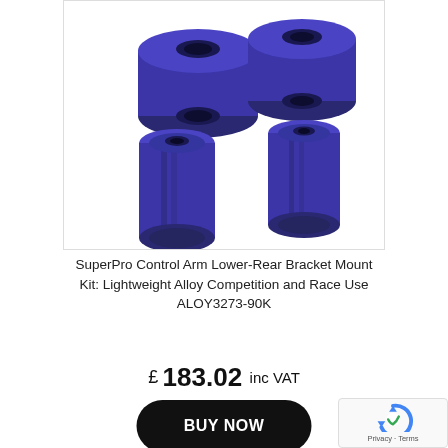[Figure (photo): Four purple polyurethane bushings/control arm mounts: two round cylindrical bushings on top and two elongated cylindrical bushings on bottom, displayed on white background with thin border.]
SuperPro Control Arm Lower-Rear Bracket Mount Kit: Lightweight Alloy Competition and Race Use ALOY3273-90K
£ 183.02 inc VAT
BUY NOW